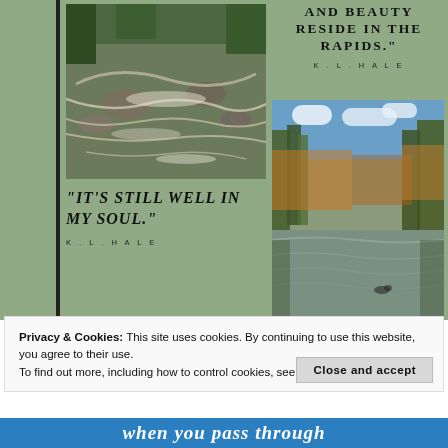[Figure (photo): Rushing white water rapids over rocks with pine trees, viewed from above]
AND BEAUTY RESIDE IN THE RAPIDS." K.L.HALE
[Figure (photo): Calm autumn river reflecting bare trees with fall foliage on the banks, blue sky overhead]
“It’s still well in my soul.” K.L.HALE
Privacy & Cookies: This site uses cookies. By continuing to use this website, you agree to their use.
To find out more, including how to control cookies, see here: Cookie Policy
Close and accept
when you pass through